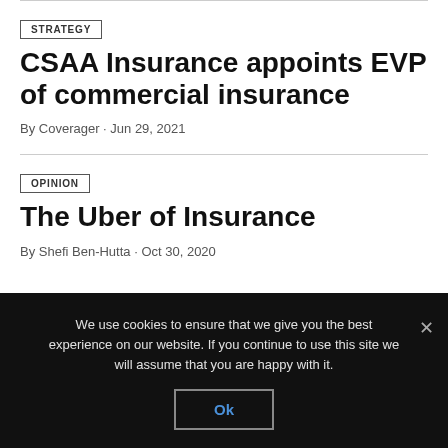STRATEGY
CSAA Insurance appoints EVP of commercial insurance
By Coverager · Jun 29, 2021
OPINION
The Uber of Insurance
By Shefi Ben-Hutta · Oct 30, 2020
We use cookies to ensure that we give you the best experience on our website. If you continue to use this site we will assume that you are happy with it.
Ok